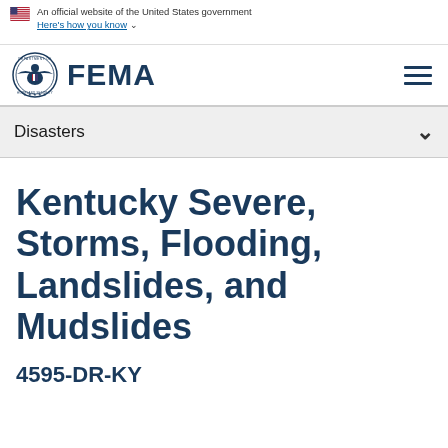An official website of the United States government Here's how you know
[Figure (logo): FEMA logo with DHS seal and FEMA wordmark]
Disasters
Kentucky Severe, Storms, Flooding, Landslides, and Mudslides
4595-DR-KY